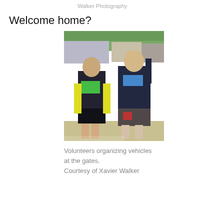Walker Photography
Welcome home?
[Figure (photo): Two young volunteers standing outdoors at a festival or event gate area, wearing colorful bandanas (green and blue) around their necks, black tops, and holding or wearing yellow safety vests. Vehicles and trees are visible in the background.]
Volunteers organizing vehicles at the gates. Courtesy of Xavier Walker